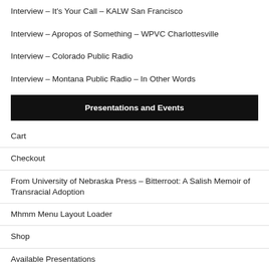Interview – It's Your Call – KALW San Francisco
Interview – Apropos of Something – WPVC Charlottesville
Interview – Colorado Public Radio
Interview – Montana Public Radio – In Other Words
Presentations and Events
Cart
Checkout
From University of Nebraska Press – Bitterroot: A Salish Memoir of Transracial Adoption
Mhmm Menu Layout Loader
Shop
Available Presentations